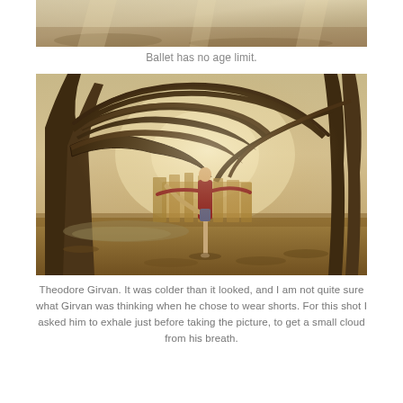[Figure (photo): Top portion of a nature/outdoor photo showing a wooded landscape with light filtering through, likely continuation from a previous page.]
Ballet has no age limit.
[Figure (photo): Theodore Girvan, a ballet dancer, posing outdoors in a winter woodland scene. He is balanced on one leg with arms extended and the other leg raised behind him, wearing a red top and shorts. Large arching bare tree branches frame the scene with warm golden light.]
Theodore Girvan. It was colder than it looked, and I am not quite sure what Girvan was thinking when he chose to wear shorts. For this shot I asked him to exhale just before taking the picture, to get a small cloud from his breath.